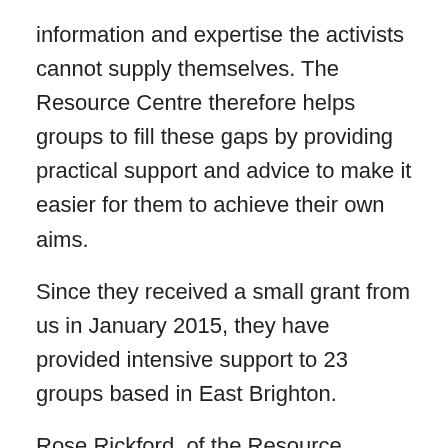information and expertise the activists cannot supply themselves. The Resource Centre therefore helps groups to fill these gaps by providing practical support and advice to make it easier for them to achieve their own aims.
Since they received a small grant from us in January 2015, they have provided intensive support to 23 groups based in East Brighton.
Rose Rickford, of the Resource Centre team, lists some of the East Brighton organisations who have benefitted from the service, “Since receiving your grant, we have worked with: Aqua Seniors Whitehawk, Bevendean Bulletin, Bevendean Community Café and Food Bank, Bevendean Gardeners, Bevendean Local Action Team, Bevy